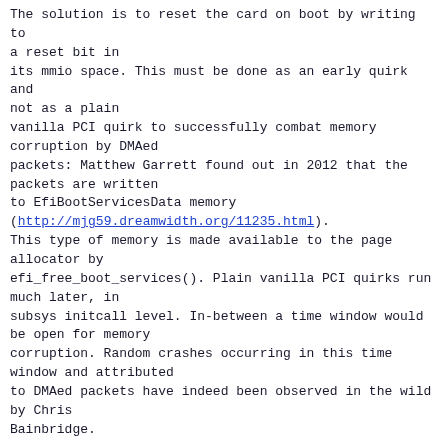The solution is to reset the card on boot by writing to a reset bit in
its mmio space. This must be done as an early quirk and not as a plain
vanilla PCI quirk to successfully combat memory corruption by DMAed
packets: Matthew Garrett found out in 2012 that the packets are written
to EfiBootServicesData memory
(http://mjg59.dreamwidth.org/11235.html).
This type of memory is made available to the page allocator by
efi_free_boot_services(). Plain vanilla PCI quirks run much later, in
subsys initcall level. In-between a time window would be open for memory
corruption. Random crashes occurring in this time window and attributed
to DMAed packets have indeed been observed in the wild by Chris
Bainbridge.
When Matthew Garrett analyzed the memory corruption issue in 2012, he
sought to fix it with a grub quirk which transitions the card to D3hot:
http://git.savannah.gnu.org/cgit/grub.git/commit/?id=9d34bb85da56